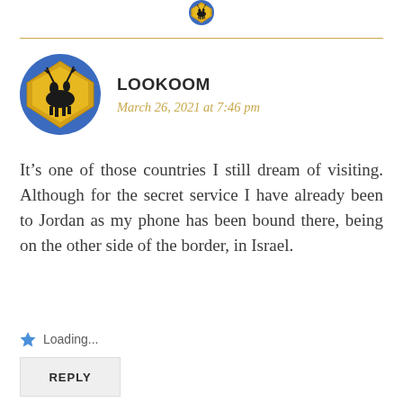[Figure (photo): Partial view of a circular avatar showing a moose crossing road sign (yellow diamond on blue circle background) at the very top of the page, partially cropped]
LOOKOOM
March 26, 2021 at 7:46 pm
It’s one of those countries I still dream of visiting. Although for the secret service I have already been to Jordan as my phone has been bound there, being on the other side of the border, in Israel.
Loading...
REPLY